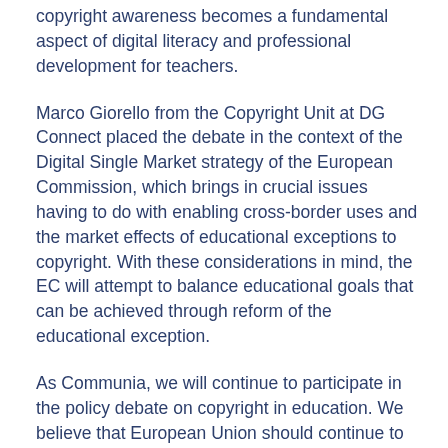copyright awareness becomes a fundamental aspect of digital literacy and professional development for teachers.
Marco Giorello from the Copyright Unit at DG Connect placed the debate in the context of the Digital Single Market strategy of the European Commission, which brings in crucial issues having to do with enabling cross-border uses and the market effects of educational exceptions to copyright. With these considerations in mind, the EC will attempt to balance educational goals that can be achieved through reform of the educational exception.
As Communia, we will continue to participate in the policy debate on copyright in education. We believe that European Union should continue to develop policies and tools supporting Open Educational Resources, in line with its “Opening Up Education” initiative. Furthermore, we need to use the opportunity of the ongoing copyright reform to establish a strong and clear exception for education. As